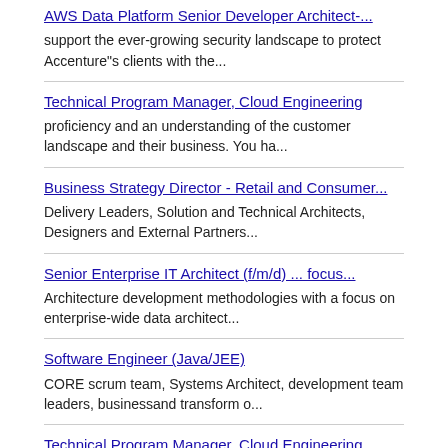AWS Data Platform Senior Developer Architect-...
support the ever-growing security landscape to protect Accenture"s clients with the...
Technical Program Manager, Cloud Engineering
proficiency and an understanding of the customer landscape and their business. You ha...
Business Strategy Director - Retail and Consumer...
Delivery Leaders, Solution and Technical Architects, Designers and External Partners...
Senior Enterprise IT Architect (f/m/d) ... focus...
Architecture development methodologies with a focus on enterprise-wide data architect...
Software Engineer (Java/JEE)
CORE scrum team, Systems Architect, development team leaders, businessand transform o...
Technical Program Manager, Cloud Engineering
proficiency and an understanding of the customer landscape and their business...